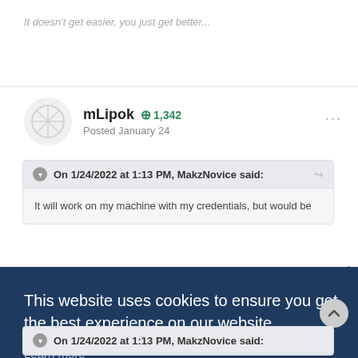It doesn't get easier, you just get better...
mLipok  +1,342  Posted January 24
On 1/24/2022 at 1:13 PM, MakzNovice said:
It will work on my machine with my credentials, but would be
am and
login....
This website uses cookies to ensure you get the best experience on our website. Learn more
Got it!
On 1/24/2022 at 1:13 PM, MakzNovice said: